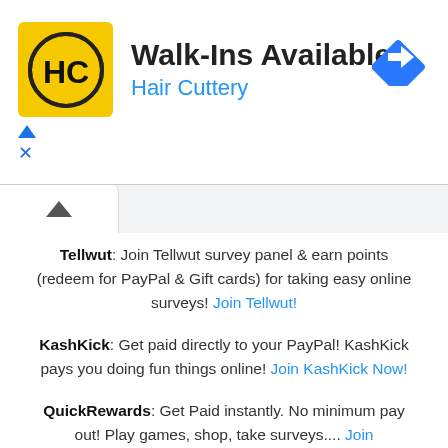[Figure (logo): Hair Cuttery advertisement banner with HC logo in yellow square, text Walk-Ins Available and Hair Cuttery in blue, blue diamond arrow icon top right]
Tellwut: Join Tellwut survey panel & earn points (redeem for PayPal & Gift cards) for taking easy online surveys! Join Tellwut!
KashKick: Get paid directly to your PayPal! KashKick pays you doing fun things online! Join KashKick Now!
QuickRewards: Get Paid instantly. No minimum pay out! Play games, shop, take surveys.... Join QuickRewards
Swagbucks: Get paid to watch videos, shop online, take surveys and more. Join Swagbucks Now & Get a $5